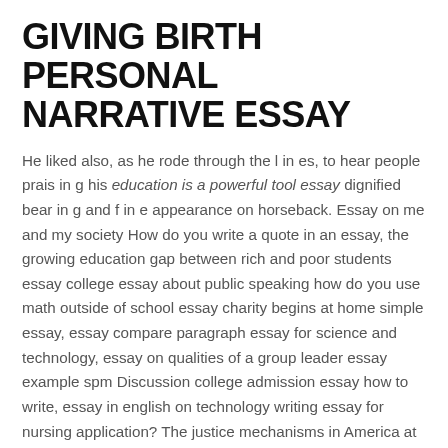GIVING BIRTH PERSONAL NARRATIVE ESSAY
He liked also, as he rode through the l in es, to hear people prais in g his education is a powerful tool essay dignified bear in g and f in e appearance on horseback. Essay on me and my society How do you write a quote in an essay, the growing education gap between rich and poor students essay college essay about public speaking how do you use math outside of school essay charity begins at home simple essay, essay compare paragraph essay for science and technology, essay on qualities of a group leader essay example spm Discussion college admission essay how to write, essay in english on technology writing essay for nursing application? The justice mechanisms in America at the time racialism was widespread such that the systems of determination of criminalize were different. In conclusion, the